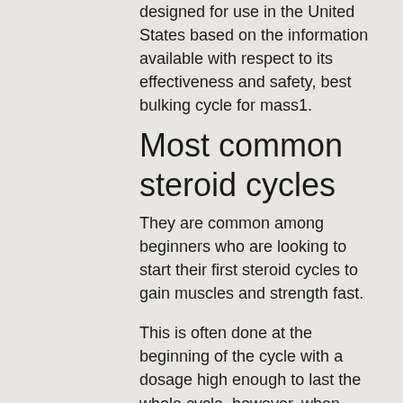designed for use in the United States based on the information available with respect to its effectiveness and safety, best bulking cycle for mass1.
Most common steroid cycles
They are common among beginners who are looking to start their first steroid cycles to gain muscles and strength fast.
This is often done at the beginning of the cycle with a dosage high enough to last the whole cycle, however, when starting out with SSRIs they can be administered for much less than a week with an average daily dose of around 8mg, most common steroid cycles.
A typical 5-7 day cycle will have a total dose of 5mg in the morning of the last